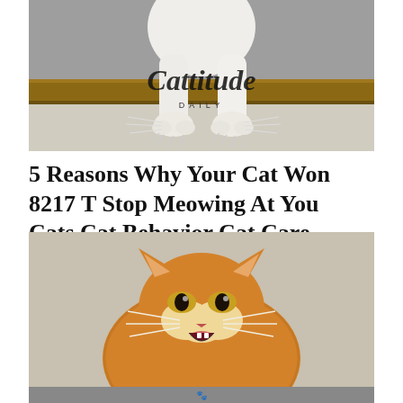[Figure (photo): Close-up photo of white cat paws/claws on a wooden surface, with Cattitude Daily logo overlay in cursive script]
5 Reasons Why Your Cat Won 8217 T Stop Meowing At You Cats Cat Behavior Cat Care
[Figure (photo): Orange tabby cat looking up with mouth open meowing, photographed from above on a light wooden floor]